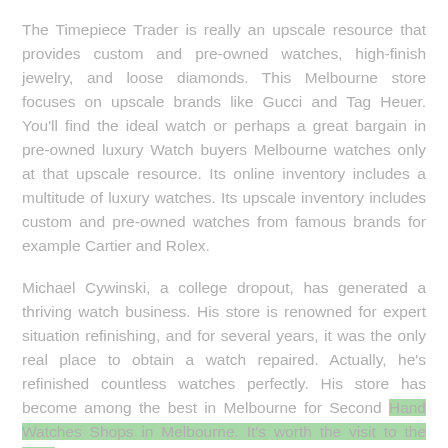The Timepiece Trader is really an upscale resource that provides custom and pre-owned watches, high-finish jewelry, and loose diamonds. This Melbourne store focuses on upscale brands like Gucci and Tag Heuer. You'll find the ideal watch or perhaps a great bargain in pre-owned luxury Watch buyers Melbourne watches only at that upscale resource. Its online inventory includes a multitude of luxury watches. Its upscale inventory includes custom and pre-owned watches from famous brands for example Cartier and Rolex.
Michael Cywinski, a college dropout, has generated a thriving watch business. His store is renowned for expert situation refinishing, and for several years, it was the only real place to obtain a watch repaired. Actually, he's refinished countless watches perfectly. His store has become among the best in Melbourne for Second Hand Watches Shops in Melbourne. It's worth the visit to the CBD to look at his amazing selection.